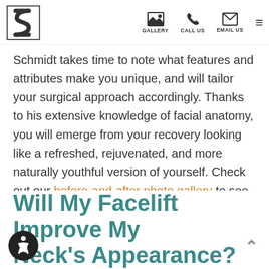GALLERY  CALL US  EMAIL US
Schmidt takes time to note what features and attributes make you unique, and will tailor your surgical approach accordingly. Thanks to his extensive knowledge of facial anatomy, you will emerge from your recovery looking like a refreshed, rejuvenated, and more naturally youthful version of yourself. Check out our before-and-after photo gallery to see results from our previous facelift patients!
Will My Facelift Improve My Neck's Appearance?